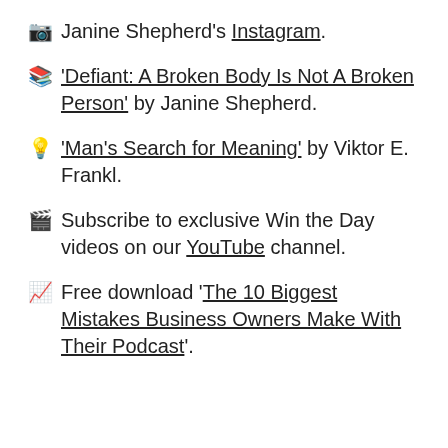📷 Janine Shepherd's Instagram.
📚 'Defiant: A Broken Body Is Not A Broken Person' by Janine Shepherd.
💡 'Man's Search for Meaning' by Viktor E. Frankl.
🎬 Subscribe to exclusive Win the Day videos on our YouTube channel.
📈 Free download 'The 10 Biggest Mistakes Business Owners Make With Their Podcast'.